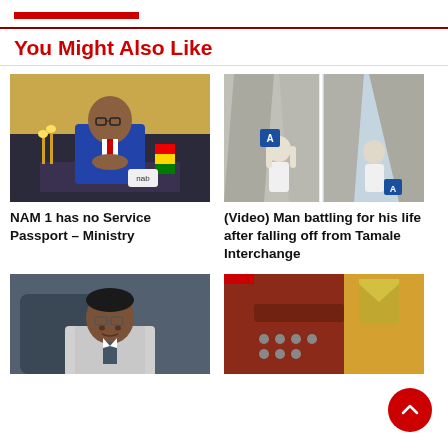You Might Also Like
[Figure (photo): Man in blue suit with glasses seated, hands clasped, with Ghana flag and office background]
NAM 1 has no Service Passport – Ministry
[Figure (photo): Man hanging or clinging to underside of Tamale Interchange structure, split image view]
(Video) Man battling for his life after falling off from Tamale Interchange
[Figure (photo): Elderly man with glasses seated in grey suit]
[Figure (photo): Close-up of red and brown leather item with studs or bullets]